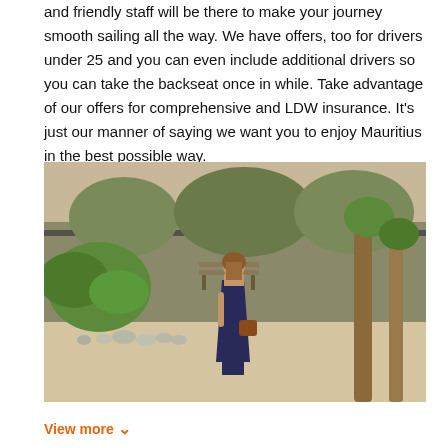and friendly staff will be there to make your journey smooth sailing all the way. We have offers, too for drivers under 25 and you can even include additional drivers so you can take the backseat once in while. Take advantage of our offers for comprehensive and LDW insurance. It's just our manner of saying we want you to enjoy Mauritius in the best possible way.
[Figure (photo): A woman in a long patterned dress with a brown bag standing on a sandy path surrounded by palm trees, tropical plants, and a bench in the background.]
View more